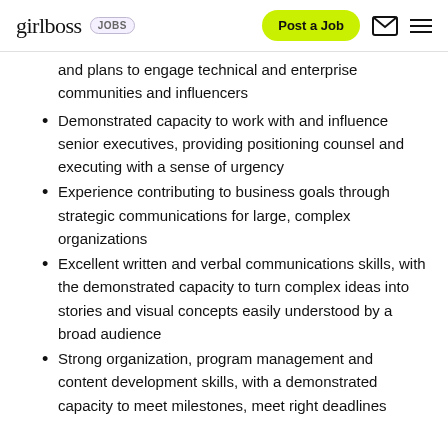girlboss JOBS | Post a Job
and plans to engage technical and enterprise communities and influencers
Demonstrated capacity to work with and influence senior executives, providing positioning counsel and executing with a sense of urgency
Experience contributing to business goals through strategic communications for large, complex organizations
Excellent written and verbal communications skills, with the demonstrated capacity to turn complex ideas into stories and visual concepts easily understood by a broad audience
Strong organization, program management and content development skills, with a demonstrated capacity to meet milestones, meet right deadlines